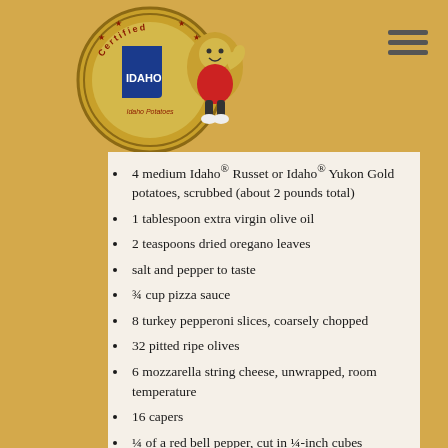[Figure (logo): Certified Idaho Potatoes logo with potato mascot character giving thumbs up]
4 medium Idaho® Russet or Idaho® Yukon Gold potatoes, scrubbed (about 2 pounds total)
1 tablespoon extra virgin olive oil
2 teaspoons dried oregano leaves
salt and pepper to taste
¾ cup pizza sauce
8 turkey pepperoni slices, coarsely chopped
32 pitted ripe olives
6 mozzarella string cheese, unwrapped, room temperature
16 capers
¼ of a red bell pepper, cut in ¼-inch cubes